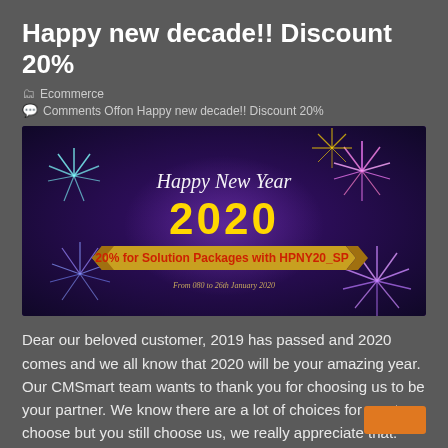Happy new decade!! Discount 20%
Ecommerce
Comments Offon Happy new decade!! Discount 20%
[Figure (illustration): Happy New Year 2020 promotional banner with fireworks on dark purple background. Shows cursive 'Happy New Year' text, golden '2020' numbers, and a yellow ribbon banner reading '20% for Solution Packages with HPNY20_SP'.]
Dear our beloved customer, 2019 has passed and 2020 comes and we all know that 2020 will be your amazing year. Our CMSmart team wants to thank you for choosing us to be your partner. We know there are a lot of choices for you to choose but you still choose us, we really appreciate that. The best way to ...